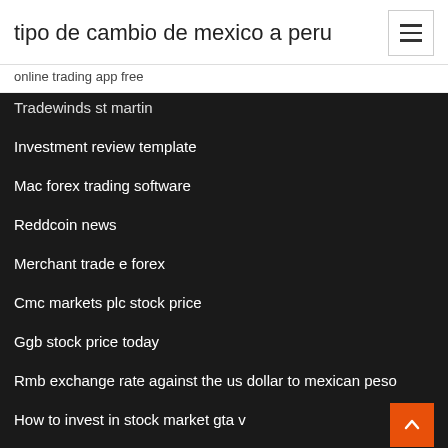tipo de cambio de mexico a peru
online trading app free
Tradewinds st martin
Investment review template
Mac forex trading software
Reddcoin news
Merchant trade e forex
Cmc markets plc stock price
Ggb stock price today
Rmb exchange rate against the us dollar to mexican peso
How to invest in stock market gta v
Stock exchange companies list pakistan